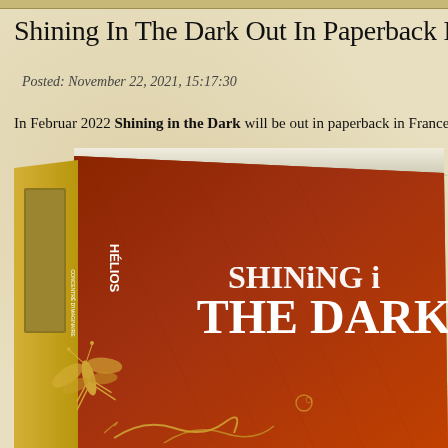Shining In The Dark Out In Paperback In F
Posted: November 22, 2021, 15:17:30
In Februar 2022 Shining in the Dark will be out in paperback in France. You can pre-or...
[Figure (photo): Book cover of 'Shining in the Dark' published by Hélios, Concentré d'Imaginaire. The cover shows the title text 'SHINING IN THE DARK' in large white letters on a dark reddish-brown leather-textured background with golden decorative insect/dragonfly illustrations at the bottom.]